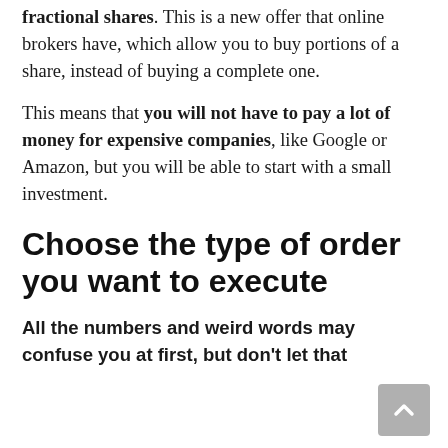fractional shares. This is a new offer that online brokers have, which allow you to buy portions of a share, instead of buying a complete one.
This means that you will not have to pay a lot of money for expensive companies, like Google or Amazon, but you will be able to start with a small investment.
Choose the type of order you want to execute
All the numbers and weird words may confuse you at first, but don't let that